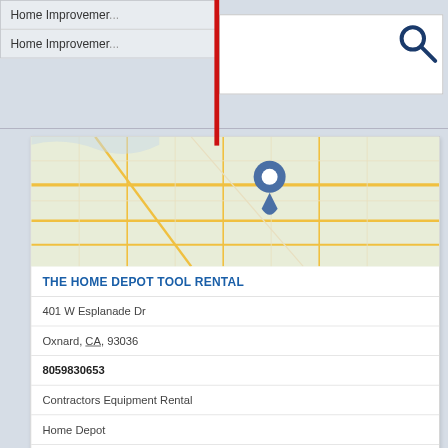[Figure (screenshot): Autocomplete dropdown showing 'Home Improvement' items]
Home Improvement
Home Improvement
[Figure (map): Street map with location pin marker for The Home Depot Tool Rental in Oxnard, CA]
THE HOME DEPOT TOOL RENTAL
401 W Esplanade Dr
Oxnard, CA, 93036
8059830653
Contractors Equipment Rental
Home Depot
Mobile Homes For Rent
Rental Equipment
The Home Depot
[Figure (map): Street map with location pin marker for The Landing Neighborhood]
THE LANDING NEIGHBORHOOD
3241 N Ventura Rd